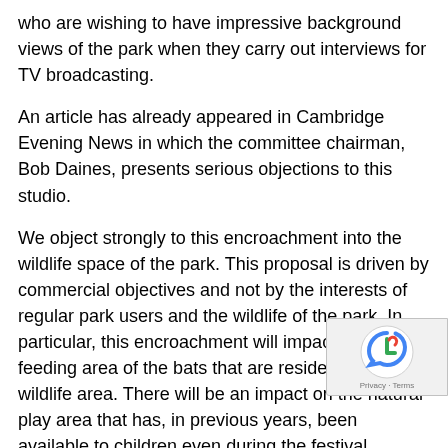who are wishing to have impressive background views of the park when they carry out interviews for TV broadcasting.
An article has already appeared in Cambridge Evening News in which the committee chairman, Bob Daines, presents serious objections to this studio.
We object strongly to this encroachment into the wildlife space of the park. This proposal is driven by commercial objectives and not by the interests of regular park users and the wildlife of the park. In particular, this encroachment will impact the feeding area of the bats that are resident in the wildlife area. There will be an impact on the natural play area that has, in previous years, been available to children even during the festival.
As a compromise, however, we propose that the be placed entirely over ground beside the pond, than over the pond.